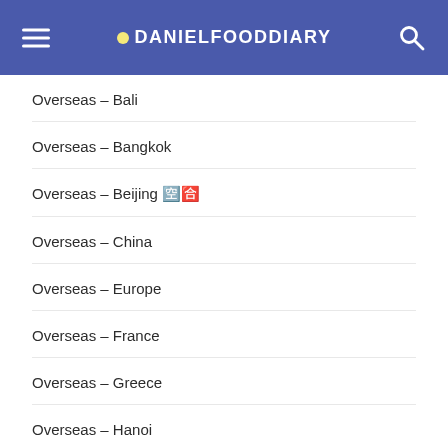DANIELFOODDIARY
Overseas – Bali
Overseas – Bangkok
Overseas – Beijing 🇨🇳
Overseas – China
Overseas – Europe
Overseas – France
Overseas – Greece
Overseas – Hanoi
Overseas – Ho Chi Minh City
Overseas – Hong Kong
Overseas – Iceland
Overseas – India
Overseas – Ipoh
Overseas – Italy